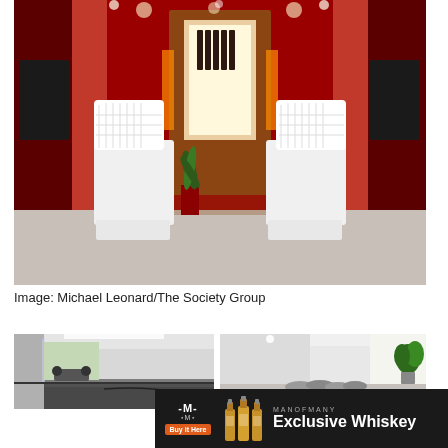[Figure (photo): Luxury red-walled spa or salon room with two white high-back chairs, a green plant, and a central illuminated bar/display cabinet with bottles, reflected in mirrored panels]
Image: Michael Leonard/The Society Group
[Figure (photo): Two side-by-side photos: left showing a minimalist indoor pool/gym area with treadmill visible through glass, right showing a spa relaxation area with rolled towels and a green plant]
[Figure (infographic): Man of Many advertisement banner: dark background with logo, orange Buy It Here button, whiskey bottles, and text reading MANOFMANY Exclusive Whiskey]